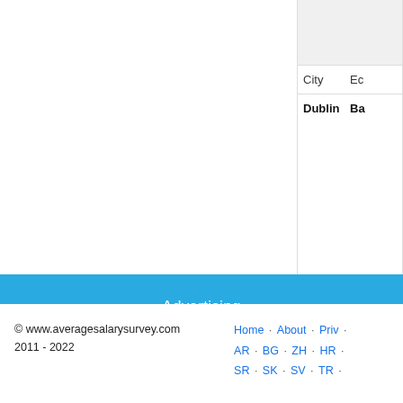| City | Ec... |
| --- | --- |
| Dublin | Ba... |
Advertising
© www.averagesalarysurvey.com 2011 - 2022  Home · About · Priv... AR · BG · ZH · HR ... SR · SK · SV · TR ...